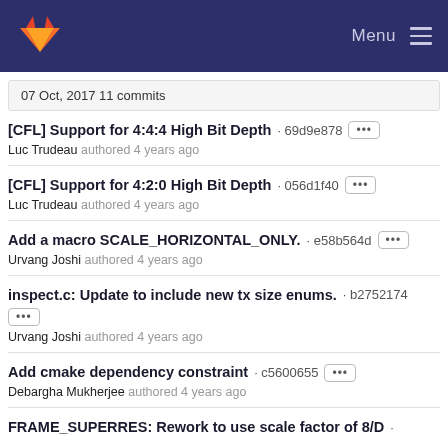GitLab · Menu
07 Oct, 2017 11 commits
[CFL] Support for 4:4:4 High Bit Depth · 69d9e878 — Luc Trudeau authored 4 years ago
[CFL] Support for 4:2:0 High Bit Depth · 056d1f40 — Luc Trudeau authored 4 years ago
Add a macro SCALE_HORIZONTAL_ONLY. · e58b564d — Urvang Joshi authored 4 years ago
inspect.c: Update to include new tx size enums. · b2752174 — Urvang Joshi authored 4 years ago
Add cmake dependency constraint · c5600655 — Debargha Mukherjee authored 4 years ago
FRAME_SUPERRES: Rework to use scale factor of 8/D ·